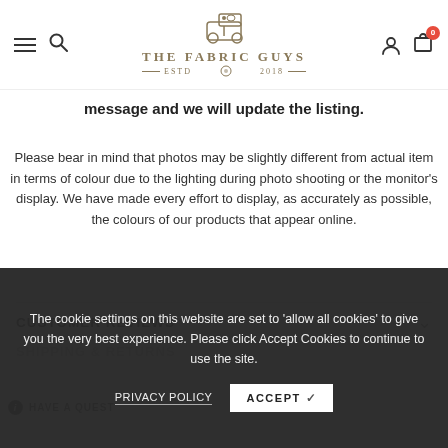THE FABRIC GUYS — ESTD 2018
message and we will update the listing.
Please bear in mind that photos may be slightly different from actual item in terms of colour due to the lighting during photo shooting or the monitor's display. We have made every effort to display, as accurately as possible, the colours of our products that appear online.
CUSTOMER REVIEWS
SHIPPING & RETURNS
HAVE A QUESTION
The cookie settings on this website are set to 'allow all cookies' to give you the very best experience. Please click Accept Cookies to continue to use the site.
PRIVACY POLICY    ACCEPT ✓